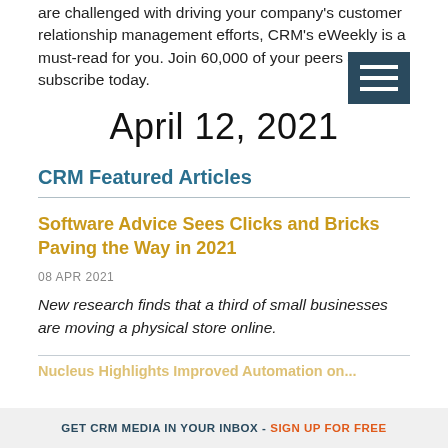are challenged with driving your company's customer relationship management efforts, CRM's eWeekly is a must-read for you. Join 60,000 of your peers and subscribe today.
April 12, 2021
CRM Featured Articles
Software Advice Sees Clicks and Bricks Paving the Way in 2021
08 APR 2021
New research finds that a third of small businesses are moving a physical store online.
Nucleus Highlights Improved Automation on...
GET CRM MEDIA IN YOUR INBOX - SIGN UP FOR FREE